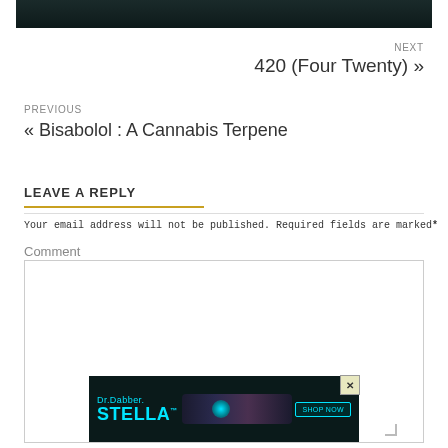[Figure (screenshot): Dark gradient banner image at top of page]
NEXT
420 (Four Twenty) »
PREVIOUS
« Bisabolol : A Cannabis Terpene
LEAVE A REPLY
Your email address will not be published. Required fields are marked*
Comment
[Figure (screenshot): Dr.Dabber STELLA advertisement banner with teal/cyan colored vape pen on dark background with SHOP NOW button]